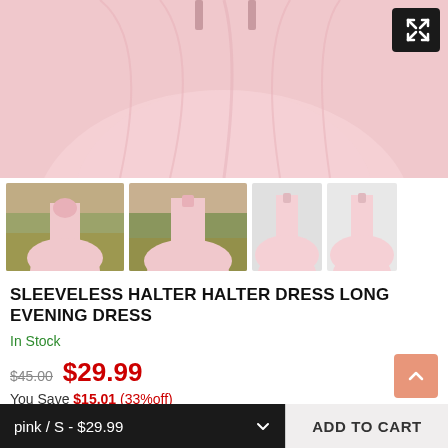[Figure (photo): Main product photo of pink sleeveless halter long evening dress, showing skirt detail on white/pink background]
[Figure (photo): Thumbnail 1: Back view of model wearing pink halter prom dress outdoors]
[Figure (photo): Thumbnail 2: Front view of model wearing pink halter prom dress outdoors]
[Figure (photo): Thumbnail 3: Front view small of pink halter dress]
[Figure (photo): Thumbnail 4: Front view small of pink halter dress]
SLEEVELESS HALTER HALTER DRESS LONG EVENING DRESS
In Stock
$45.00  $29.99
You Save $15.01 (33%off)
19 sold in last 13 hours
pink / S - $29.99
ADD TO CART